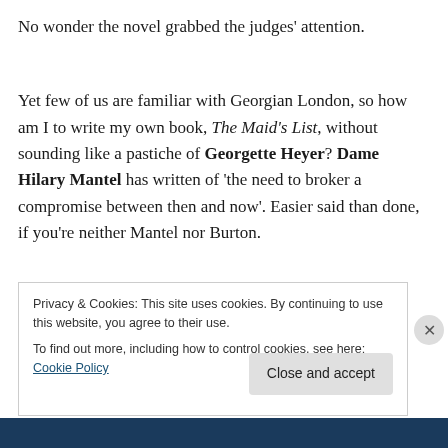No wonder the novel grabbed the judges' attention.
Yet few of us are familiar with Georgian London, so how am I to write my own book, The Maid's List, without sounding like a pastiche of Georgette Heyer? Dame Hilary Mantel has written of 'the need to broker a compromise between then and now'. Easier said than done, if you're neither Mantel nor Burton.
Privacy & Cookies: This site uses cookies. By continuing to use this website, you agree to their use.
To find out more, including how to control cookies, see here: Cookie Policy